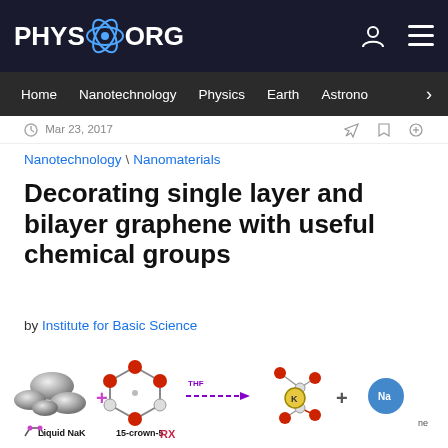PHYS.ORG
Home  Nanotechnology  Physics  Earth  Astronomy
Mar 23, 2017
Nanotechnology \ Nanomaterials
Decorating single layer and bilayer graphene with useful chemical groups
by Institute for Basic Science
[Figure (illustration): Chemical diagram showing Liquid NaK + 15-crown-5 with THF arrow reaction, producing a potassium complex + Na product, and graphene lattice diagrams below]